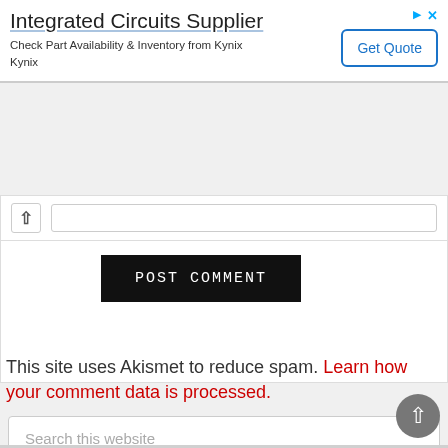[Figure (screenshot): Advertisement banner for Integrated Circuits Supplier - Kynix, with Get Quote button and ad icons]
[Figure (screenshot): Comment form section with chevron up icon, input bar, and POST COMMENT button]
This site uses Akismet to reduce spam. Learn how your comment data is processed.
[Figure (screenshot): Search this website input field]
[Figure (screenshot): Back to top circular button with chevron up arrow]